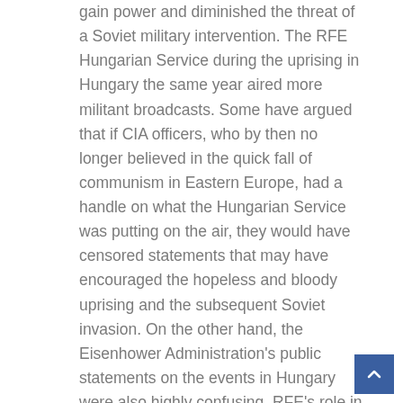gain power and diminished the threat of a Soviet military intervention. The RFE Hungarian Service during the uprising in Hungary the same year aired more militant broadcasts. Some have argued that if CIA officers, who by then no longer believed in the quick fall of communism in Eastern Europe, had a handle on what the Hungarian Service was putting on the air, they would have censored statements that may have encouraged the hopeless and bloody uprising and the subsequent Soviet invasion. On the other hand, the Eisenhower Administration's public statements on the events in Hungary were also highly confusing. RFE's role in the Hungarian Uprising and the CIA's involvement with the broadcasts are still a subject of some controversy.
There was, however, one real benefit of